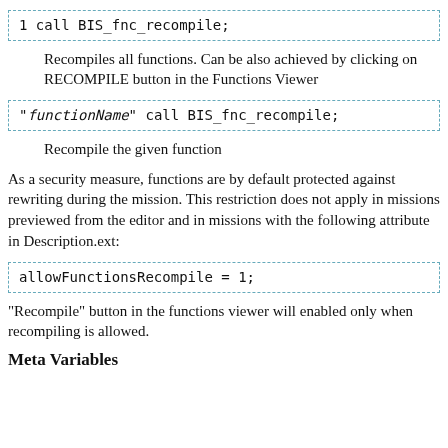[Figure (screenshot): Code box showing: 1 call BIS_fnc_recompile;]
Recompiles all functions. Can be also achieved by clicking on RECOMPILE button in the Functions Viewer
[Figure (screenshot): Code box showing: "functionName" call BIS_fnc_recompile;]
Recompile the given function
As a security measure, functions are by default protected against rewriting during the mission. This restriction does not apply in missions previewed from the editor and in missions with the following attribute in Description.ext:
[Figure (screenshot): Code box showing: allowFunctionsRecompile = 1;]
"Recompile" button in the functions viewer will enabled only when recompiling is allowed.
Meta Variables